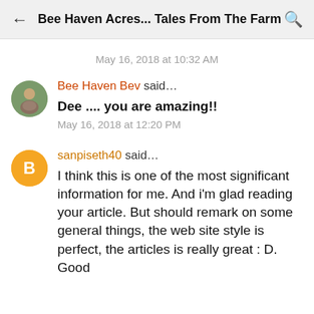Bee Haven Acres... Tales From The Farm
May 16, 2018 at 10:32 AM
Bee Haven Bev said…
Dee .... you are amazing!!
May 16, 2018 at 12:20 PM
sanpiseth40 said…
I think this is one of the most significant information for me. And i'm glad reading your article. But should remark on some general things, the web site style is perfect, the articles is really great : D. Good